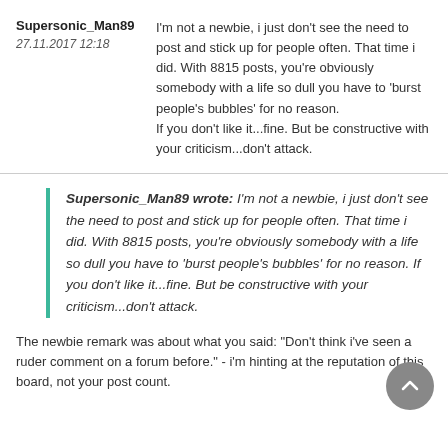Supersonic_Man89
27.11.2017 12:18
I'm not a newbie, i just don't see the need to post and stick up for people often. That time i did. With 8815 posts, you're obviously somebody with a life so dull you have to 'burst people's bubbles' for no reason.
If you don't like it...fine. But be constructive with your criticism...don't attack.
Supersonic_Man89 wrote: I'm not a newbie, i just don't see the need to post and stick up for people often. That time i did. With 8815 posts, you're obviously somebody with a life so dull you have to 'burst people's bubbles' for no reason. If you don't like it...fine. But be constructive with your criticism...don't attack.
The newbie remark was about what you said: "Don't think i've seen a ruder comment on a forum before." - i'm hinting at the reputation of this board, not your post count.